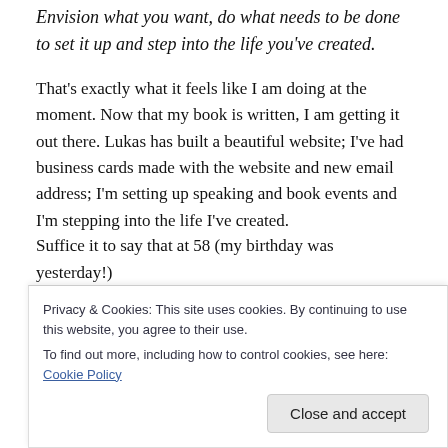Envision what you want, do what needs to be done to set it up and step into the life you’ve created.
That’s exactly what it feels like I am doing at the moment. Now that my book is written, I am getting it out there. Lukas has built a beautiful website; I’ve had business cards made with the website and new email address; I’m setting up speaking and book events and I’m stepping into the life I’ve created.
Suffice it to say that at 58 (my birthday was yesterday!)
[Figure (screenshot): Cookie consent overlay banner with text: 'Privacy & Cookies: This site uses cookies. By continuing to use this website, you agree to their use. To find out more, including how to control cookies, see here: Cookie Policy' and a 'Close and accept' button.]
curve!